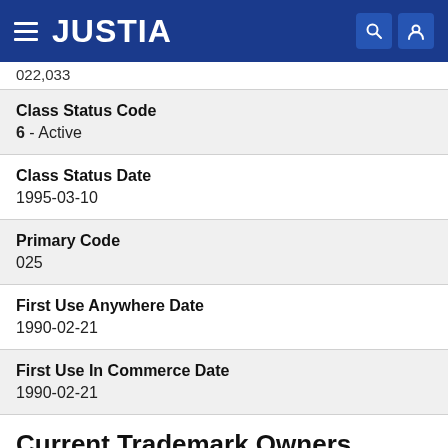JUSTIA
022,033
Class Status Code
6 - Active
Class Status Date
1995-03-10
Primary Code
025
First Use Anywhere Date
1990-02-21
First Use In Commerce Date
1990-02-21
Current Trademark Owners